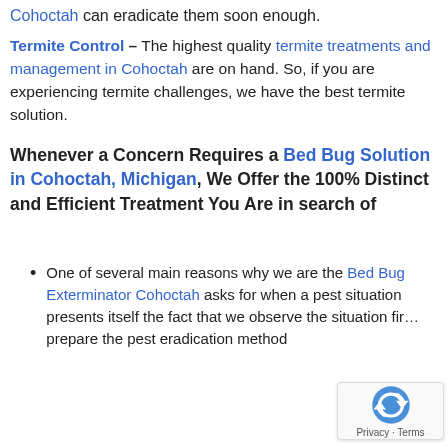Cohoctah can eradicate them soon enough.
Termite Control – The highest quality termite treatments and management in Cohoctah are on hand. So, if you are experiencing termite challenges, we have the best termite solution.
Whenever a Concern Requires a Bed Bug Solution in Cohoctah, Michigan, We Offer the 100% Distinct and Efficient Treatment You Are in search of
One of several main reasons why we are the Bed Bug Exterminator Cohoctah asks for when a pest situation presents itself the fact that we observe the situation first prepare the pest eradication method